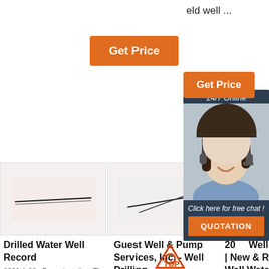eld well ...
[Figure (screenshot): Orange 'Get Price' button (larger, left)]
[Figure (screenshot): Orange 'Get Price' button (smaller, right)]
[Figure (screenshot): Chat panel with '24/7 Online', agent photo, 'Click here for free chat!' and orange QUOTATION button]
[Figure (photo): Thumbnail 1: drilling rod image on light pink background]
[Figure (photo): Thumbnail 2: drilling rods crossed on light background]
[Figure (photo): Thumbnail 3: partial drilling rod image]
Drilled Water Well Record
2020-1-28 · Pump installers The Drilled Water We
Guest Well & Pump Services, Inc. - Well Drilling
...
2021 Well Pump Costs | New & Replacement Well Water